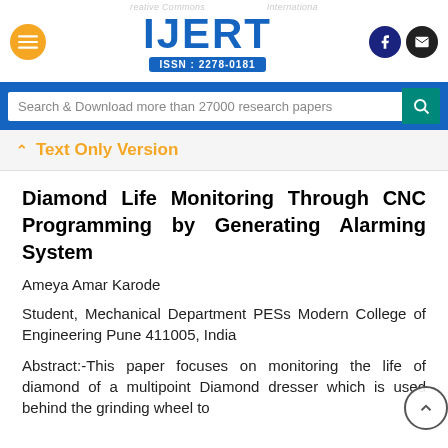Creative Commons IJERT International | ISSN : 2278-0181
Search & Download more than 27000 research papers
Text Only Version
Diamond Life Monitoring Through CNC Programming by Generating Alarming System
Ameya Amar Karode
Student, Mechanical Department PESs Modern College of Engineering Pune 411005, India
Abstract:-This paper focuses on monitoring the life of diamond of a multipoint Diamond dresser which is used behind the grinding wheel to...